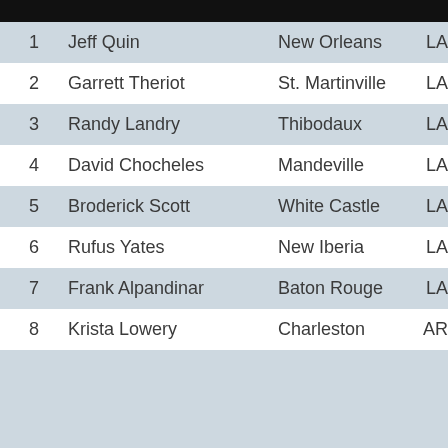| # | Name | City | State |
| --- | --- | --- | --- |
| 1 | Jeff Quin | New Orleans | LA |
| 2 | Garrett Theriot | St. Martinville | LA |
| 3 | Randy Landry | Thibodaux | LA |
| 4 | David Chocheles | Mandeville | LA |
| 5 | Broderick Scott | White Castle | LA |
| 6 | Rufus Yates | New Iberia | LA |
| 7 | Frank Alpandinar | Baton Rouge | LA |
| 8 | Krista Lowery | Charleston | AR |